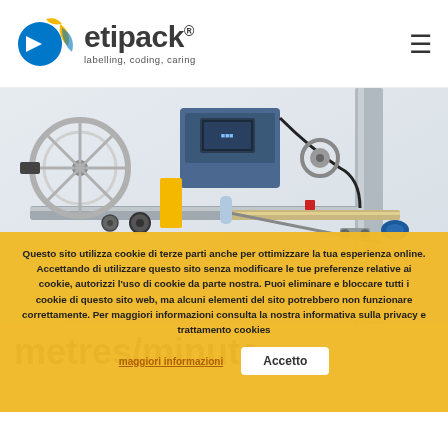etipack® — labelling, coding, caring
[Figure (photo): Industrial labelling machine with reel, applicator arm, and conveyor belt mechanism on white background]
Questo sito utilizza cookie di terze parti anche per ottimizzare la tua esperienza online. Accettando di utilizzare questo sito senza modificare le tue preferenze relative ai cookie, autorizzi l'uso di cookie da parte nostra. Puoi eliminare e bloccare tutti i cookie di questo sito web, ma alcuni elementi del sito potrebbero non funzionare correttamente. Per maggiori informazioni consulta la nostra informativa sulla privacy e trattamento cookies maggiori informazioni Accetto
metres/minute